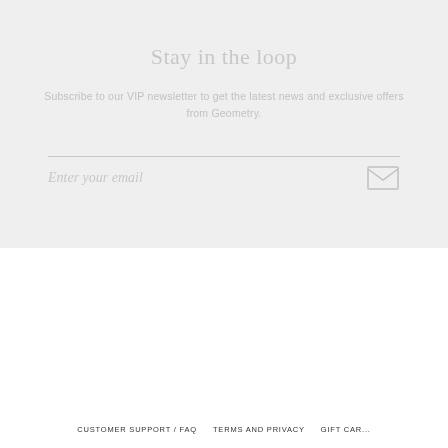Stay in the loop
Subscribe to our VIP newsletter to get the latest news and exclusive offers from Geometry.
Enter your email
[Figure (other): Instagram and Facebook social media icon circles]
[Figure (other): Scroll to top button - dark circle with upward arrow]
[Figure (other): Menu bar with hamburger icon and MENU text on dark background]
[Figure (other): Chat/message button - white circle with chat bubble icon]
CUSTOMER SUPPORT / FAQ   TERMS AND PRIVACY   GIFT CAR...